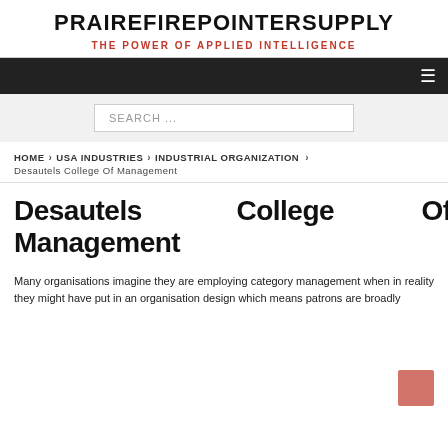PRAIREFIREPOINTERSUPPLY
THE POWER OF APPLIED INTELLIGENCE
≡ (hamburger menu)
SEARCH ...
HOME › USA INDUSTRIES › INDUSTRIAL ORGANIZATION › Desautels College Of Management
Desautels College Of Management
Many organisations imagine they are employing category management when in reality they might have put in an organisation design which means patrons are broadly